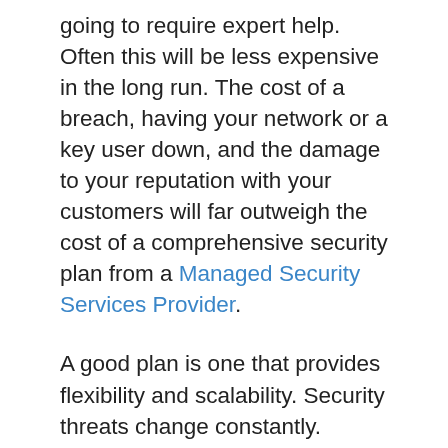going to require expert help. Often this will be less expensive in the long run. The cost of a breach, having your network or a key user down, and the damage to your reputation with your customers will far outweigh the cost of a comprehensive security plan from a Managed Security Services Provider.
A good plan is one that provides flexibility and scalability. Security threats change constantly. Keeping up with those changes is a full-time job. There are some key